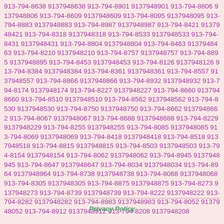913-794-8638 9137948638 913-794-8901 9137948901 913-794-8806 9137948806 913-794-8609 9137948609 913-794-8095 9137948095 913-794-8883 9137948883 913-794-8987 9137948987 913-794-8421 9137948421 913-794-8318 9137948318 913-794-8533 9137948533 913-794-8431 9137948431 913-794-8804 9137948804 913-794-8463 9137948463 913-794-8210 9137948210 913-794-8757 9137948757 913-794-8895 9137948895 913-794-8453 9137948453 913-794-8126 9137948126 913-794-8384 9137948384 913-794-8361 9137948361 913-794-8557 9137948557 913-794-8866 9137948866 913-794-8932 9137948932 913-794-8174 9137948174 913-794-8227 9137948227 913-794-8660 9137948660 913-794-8510 9137948510 913-794-8562 9137948562 913-794-8530 9137948530 913-794-8750 9137948750 913-794-8662 9137948662 913-794-8067 9137948067 913-794-8688 9137948688 913-794-8229 9137948229 913-794-8255 9137948255 913-794-8085 9137948085 913-794-8069 9137948069 913-794-8418 9137948418 913-794-8518 9137948518 913-794-8815 9137948815 913-794-8503 9137948503 913-794-8154 9137948154 913-794-8062 9137948062 913-794-8945 9137948945 913-794-8647 9137948647 913-794-8034 9137948034 913-794-8964 9137948964 913-794-8738 9137948738 913-794-8068 9137948068 913-794-8305 9137948305 913-794-8875 9137948875 913-794-8273 9137948273 913-794-8739 9137948739 913-794-8222 9137948222 913-794-8282 9137948282 913-794-8983 9137948983 913-794-8052 9137948052 913-794-8912 9137948912 913-794-8208 9137948208
Privacy Policy